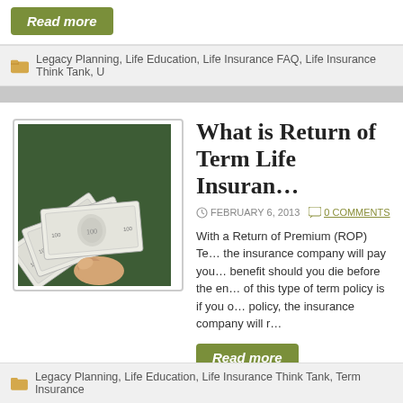Read more
Legacy Planning, Life Education, Life Insurance FAQ, Life Insurance Think Tank, U…
What is Return of Term Life Insurance
FEBRUARY 6, 2013   0 COMMENTS
[Figure (photo): Hand holding a fan of US dollar bills against a dark green background]
With a Return of Premium (ROP) Te… the insurance company will pay you… benefit should you die before the en… of this type of term policy is if you o… policy, the insurance company will r…
Read more
Legacy Planning, Life Education, Life Insurance Think Tank, Term Insurance